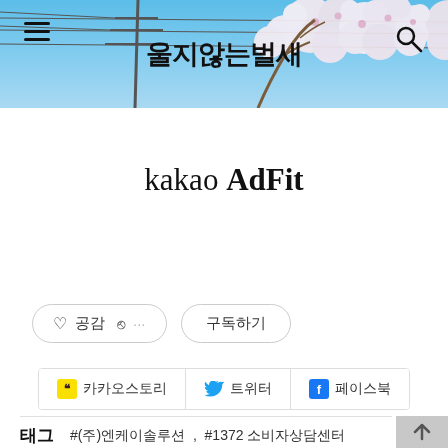울지않는벌새
kakao AdFit
♡ 공감  ↑  ···   구독하기
카카오스토리   트위터   페이스북
태그   #(주)엔케이솔루션  ,   #1372 소비자상담센터  ,